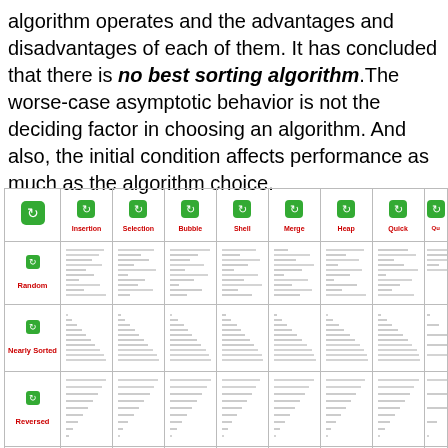algorithm operates and the advantages and disadvantages of each of them. It has concluded that there is no best sorting algorithm.The worse-case asymptotic behavior is not the deciding factor in choosing an algorithm. And also, the initial condition affects performance as much as the algorithm choice.
[Figure (table-as-image): Comparison table of sorting algorithms (Insertion, Selection, Bubble, Shell, Merge, Heap, Quick, and one more partially visible) across four data conditions (Random, Nearly Sorted, Reversed, Few Unique), showing animated bar visualizations for each combination, with green badges for each algorithm column header.]